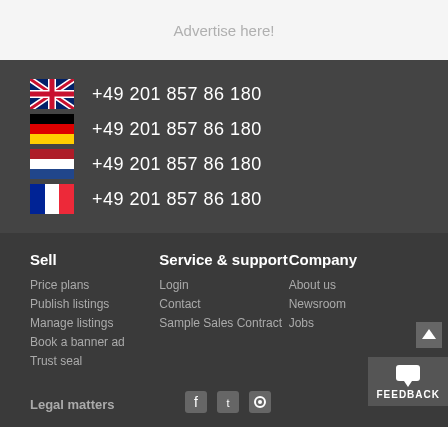Advertise here!
+49 201 857 86 180 (UK flag)
+49 201 857 86 180 (Germany flag)
+49 201 857 86 180 (Netherlands flag)
+49 201 857 86 180 (France flag)
Sell
Price plans
Publish listings
Manage listings
Book a banner ad
Trust seal
Service & support
Login
Contact
Sample Sales Contract
Company
About us
Newsroom
Jobs
Legal matters
FEEDBACK